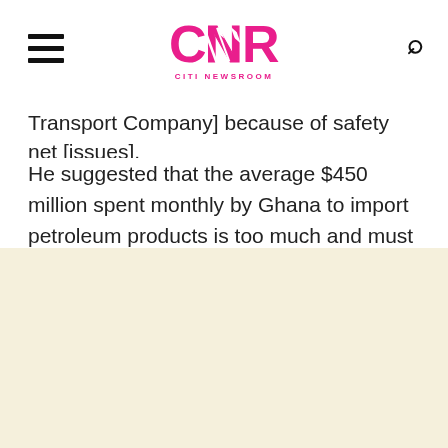CNR CITI NEWSROOM
Transport Company] because of safety net [issues].
He suggested that the average $450 million spent monthly by Ghana to import petroleum products is too much and must be reversed to strengthen the cedi and stabilise the economy.